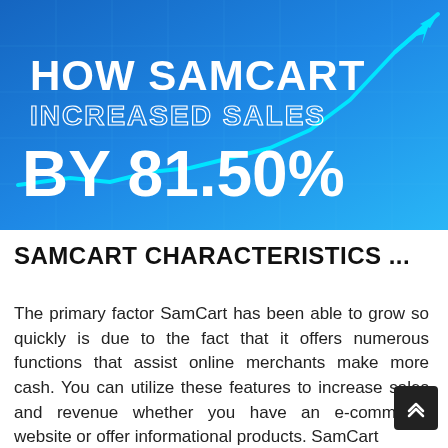[Figure (infographic): Blue gradient banner with white text reading 'HOW SAMCART INCREASED SALES BY 81.50%' and a cyan line chart trending upward sharply to the right]
SAMCART CHARACTERISTICS ...
The primary factor SamCart has been able to grow so quickly is due to the fact that it offers numerous functions that assist online merchants make more cash. You can utilize these features to increase sales and revenue whether you have an e-commerce website or offer informational products. SamCart